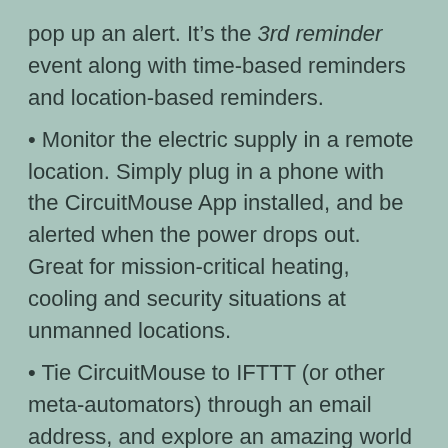pop up an alert. It’s the 3rd reminder event along with time-based reminders and location-based reminders.
Monitor the electric supply in a remote location. Simply plug in a phone with the CircuitMouse App installed, and be alerted when the power drops out. Great for mission-critical heating, cooling and security situations at unmanned locations.
Tie CircuitMouse to IFTTT (or other meta-automators) through an email address, and explore an amazing world of life and social automation.